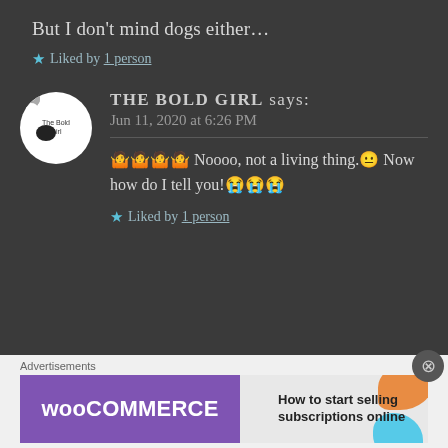But I don't mind dogs either...
★ Liked by 1 person
THE BOLD GIRL says:
Jun 11, 2020 at 6:26 PM
🤷🤷🤷🤷 Noooo, not a living thing.😐 Now how do I tell you!😭😭😭
★ Liked by 1 person
[Figure (other): WooCommerce advertisement banner: How to start selling subscriptions online]